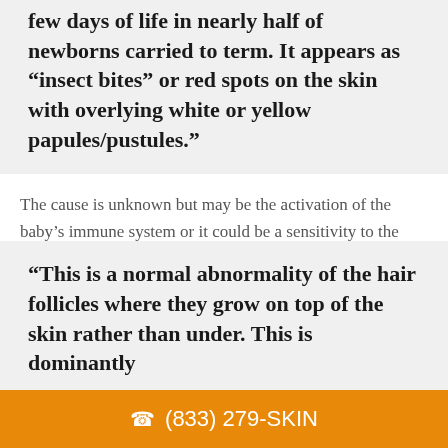few days of life in nearly half of newborns carried to term. It appears as “insect bites” or red spots on the skin with overlying white or yellow papules/pustules.”
The cause is unknown but may be the activation of the baby’s immune system or it could be a sensitivity to the environment. It will usually go away on its own in a few weeks and therefore, no treatment is necessary.
Keratosis pilaris
“This is a normal abnormality of the hair follicles where they grow on top of the skin rather than under. This is dominantly
(833) 279-SKIN